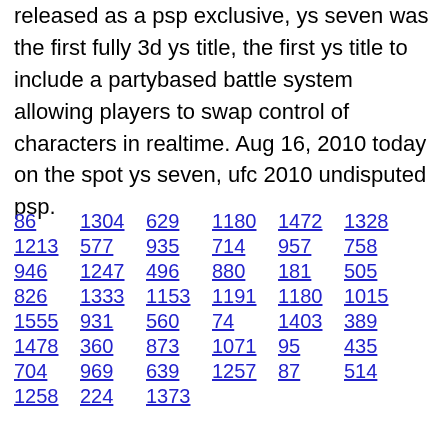released as a psp exclusive, ys seven was the first fully 3d ys title, the first ys title to include a partybased battle system allowing players to swap control of characters in realtime. Aug 16, 2010 today on the spot ys seven, ufc 2010 undisputed psp.
86  1304  629  1180  1472  1328
1213  577  935  714  957  758
946  1247  496  880  181  505
826  1333  1153  1191  1180  1015
1555  931  560  74  1403  389
1478  360  873  1071  95  435
704  969  639  1257  87  514
1258  224  1373